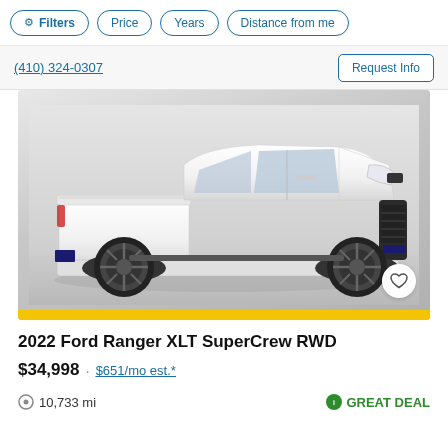Filters  Price  Years  Distance from me
(410) 324-0307  Request Info
[Figure (photo): White 2022 Ford Ranger XLT SuperCrew RWD pickup truck on a light gray studio background, three-quarter front view, with black wheels and black trim. Yellow strip at bottom of image.]
2022 Ford Ranger XLT SuperCrew RWD
$34,998  ·  $651/mo est.*
10,733 mi   GREAT DEAL